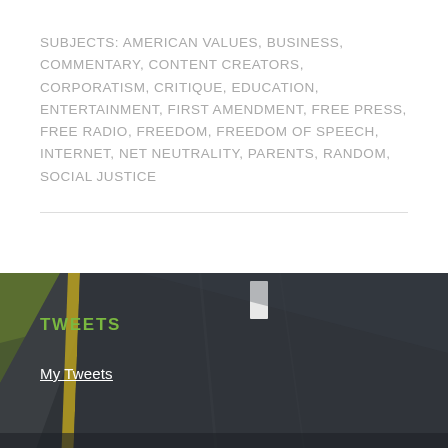SUBJECTS: AMERICAN VALUES, BUSINESS, COMMENTARY, CONTENT CREATORS, CORPORATISM, CRITIQUE, EDUCATION, ENTERTAINMENT, FIRST AMENDMENT, FREE PRESS, FREE RADIO, FREEDOM, FREEDOM OF SPEECH, INTERNET, NET NEUTRALITY, PARENTS, RANDOM, SOCIAL JUSTICE
[Figure (photo): A dark road photographed from above at an angle, showing asphalt with yellow road markings on the left side and a white dashed center line. A green roadside area is visible at the top-left.]
TWEETS
My Tweets